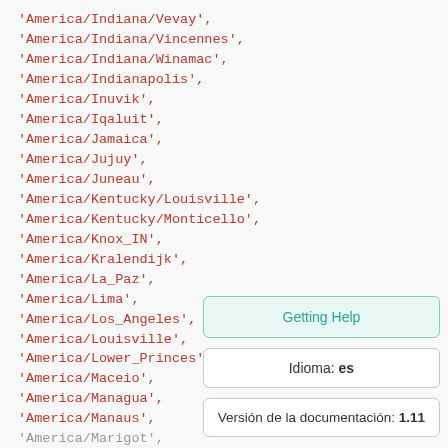'America/Indiana/Vevay',
'America/Indiana/Vincennes',
'America/Indiana/Winamac',
'America/Indianapolis',
'America/Inuvik',
'America/Iqaluit',
'America/Jamaica',
'America/Jujuy',
'America/Juneau',
'America/Kentucky/Louisville',
'America/Kentucky/Monticello',
'America/Knox_IN',
'America/Kralendijk',
'America/La_Paz',
'America/Lima',
'America/Los_Angeles',
'America/Louisville',
'America/Lower_Princes',
'America/Maceio',
'America/Managua',
'America/Manaus',
Getting Help
Idioma: es
Versión de la documentación: 1.11